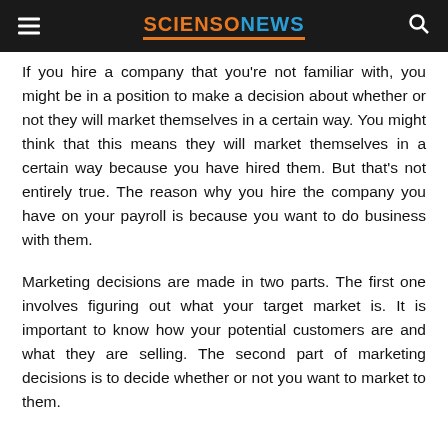SCIENSONEWS
If you hire a company that you're not familiar with, you might be in a position to make a decision about whether or not they will market themselves in a certain way. You might think that this means they will market themselves in a certain way because you have hired them. But that's not entirely true. The reason why you hire the company you have on your payroll is because you want to do business with them.
Marketing decisions are made in two parts. The first one involves figuring out what your target market is. It is important to know how your potential customers are and what they are selling. The second part of marketing decisions is to decide whether or not you want to market to them.